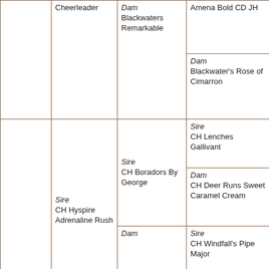| Col1 | Col2 | Col3 | Col4 |
| --- | --- | --- | --- |
|  | Cheerleader | Dam
Blackwaters Remarkable | Amena Bold CD JH |
|  |  |  | Dam
Blackwater's Rose of Cimarron |
|  | Sire
CH Hyspire Adrenaline Rush | Sire
CH Boradors By George | Sire
CH Lenches Gallivant |
|  |  |  | Dam
CH Deer Runs Sweet Caramel Cream |
|  |  | Dam | Sire
CH Windfall's Pipe Major |